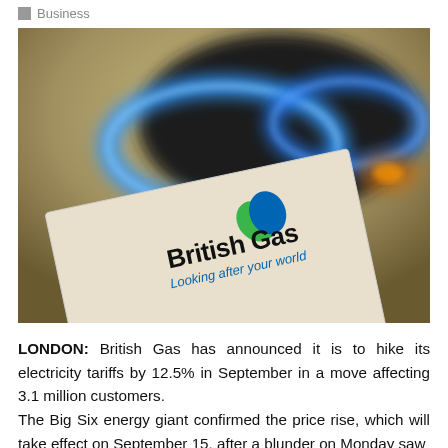Business
[Figure (photo): A British Gas branded document/envelope in the foreground with the text 'British Gas – Looking after your world' and a blue gas flame burning on a hob in the background, blurred.]
LONDON: British Gas has announced it is to hike its electricity tariffs by 12.5% in September in a move affecting 3.1 million customers.
The Big Six energy giant confirmed the price rise, which will take effect on September 15, after a blunder on Monday saw...